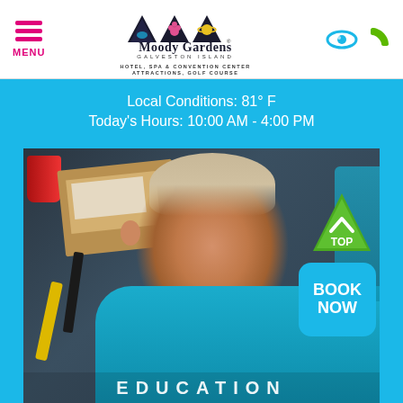MENU | Moody Gardens Galveston Island Hotel, Spa & Convention Center Attractions, Golf Course
Local Conditions:  81° F
Today's Hours:  10:00 AM - 4:00 PM
[Figure (photo): A smiling young boy in a teal shirt sitting at a dark table with craft supplies including a red cup, cardboard, yellow crayon, and black marker. Partially visible text at bottom reads EDUCATION.]
EDUCATION